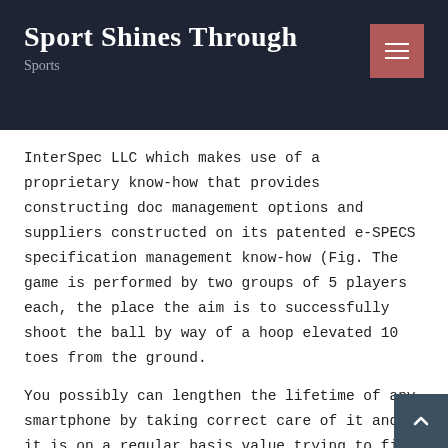Sport Shines Through
Sports
InterSpec LLC which makes use of a proprietary know-how that provides constructing doc management options and suppliers constructed on its patented e-SPECS specification management know-how (Fig. The game is performed by two groups of 5 players each, the place the aim is to successfully shoot the ball by way of a hoop elevated 10 toes from the ground.
You possibly can lengthen the lifetime of any smartphone by taking correct care of it and it is on a regular basis value trying to find good protecting cases There are additionally quite a lot of good waterproof telephones to select from these days. created it as a substitute for football for the reason